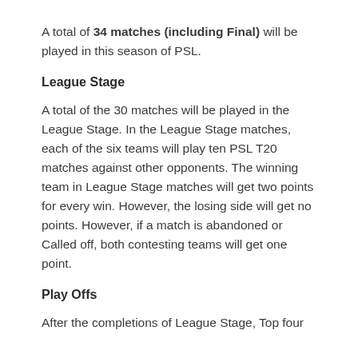A total of 34 matches (including Final) will be played in this season of PSL.
League Stage
A total of the 30 matches will be played in the League Stage. In the League Stage matches, each of the six teams will play ten PSL T20 matches against other opponents. The winning team in League Stage matches will get two points for every win. However, the losing side will get no points. However, if a match is abandoned or Called off, both contesting teams will get one point.
Play Offs
After the completions of League Stage, Top four